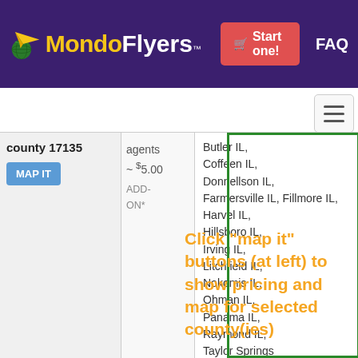MondoFlyers™ Start one! FAQ
| county | agents / price | cities |
| --- | --- | --- |
| county 17135
MAP IT | agents
~ $5.00
ADD-ON* | Butler IL, Coffeen IL, Donnellson IL, Farmersville IL, Fillmore IL, Harvel IL, Hillsboro IL, Irving IL, Litchfield IL, Nokomis IL, Ohman IL, Panama IL, Raymond IL, Taylor Springs IL, Waggoner IL, Walshville IL, Witt IL |
Click "map it" buttons (at left) to show pricing and map for selected county(ies)